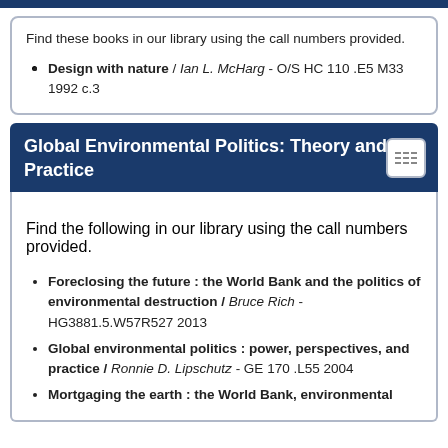Find these books in our library using the call numbers provided.
Design with nature / Ian L. McHarg - O/S HC 110 .E5 M33 1992 c.3
Global Environmental Politics: Theory and Practice
Find the following in our library using the call numbers provided.
Foreclosing the future : the World Bank and the politics of environmental destruction / Bruce Rich - HG3881.5.W57R527 2013
Global environmental politics : power, perspectives, and practice / Ronnie D. Lipschutz - GE 170 .L55 2004
Mortgaging the earth : the World Bank, environmental